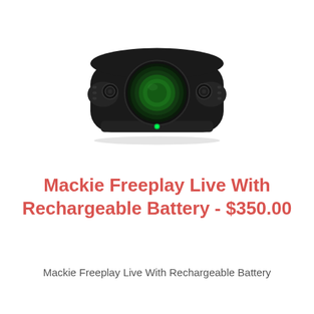[Figure (photo): Front view of a Mackie Freeplay Live portable PA speaker/device — a wide, low-profile black unit with a large circular green-tinted lens or woofer in the center and two smaller circular elements on each side, with a small green LED indicator on the front bottom.]
Mackie Freeplay Live With Rechargeable Battery - $350.00
Mackie Freeplay Live With Rechargeable Battery